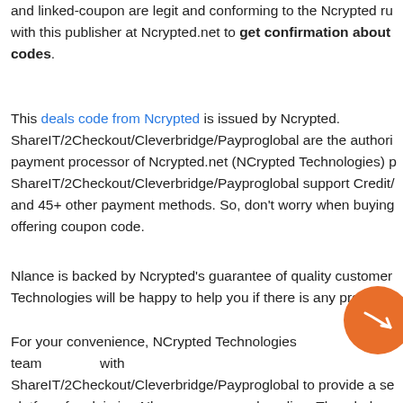and linked-coupon are legit and conforming to the Ncrypted ru with this publisher at Ncrypted.net to get confirmation about codes.
This deals code from Ncrypted is issued by Ncrypted. ShareIT/2Checkout/Cleverbridge/Payproglobal are the authori payment processor of Ncrypted.net (NCrypted Technologies) p ShareIT/2Checkout/Cleverbridge/Payproglobal support Credit/ and 45+ other payment methods. So, don't worry when buying offering coupon code.
Nlance is backed by Ncrypted's guarantee of quality customer Technologies will be happy to help you if there is any problem
For your convenience, NCrypted Technologies team with ShareIT/2Checkout/Cleverbridge/Payproglobal to provide a se platform for claiming Nlance coupon code online. The whole